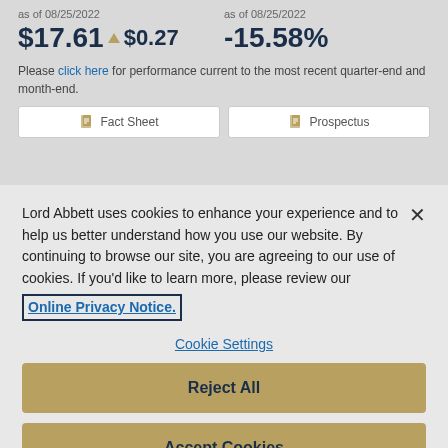as of 08/25/2022
$17.61 ↑$0.27
as of 08/25/2022
-15.58%
Please click here for performance current to the most recent quarter-end and month-end.
[Figure (screenshot): Fact Sheet button with document icon]
[Figure (screenshot): Prospectus button with document icon]
Lord Abbett uses cookies to enhance your experience and to help us better understand how you use our website. By continuing to browse our site, you are agreeing to our use of cookies. If you'd like to learn more, please review our Online Privacy Notice.
Cookie Settings
Reject All
Accept Cookies